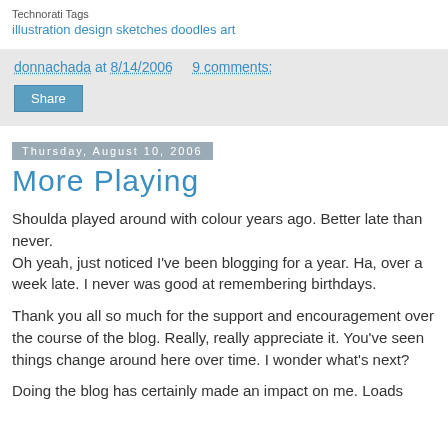Technorati Tags
illustration design sketches doodles art
donnachada at 8/14/2006   9 comments:
Share
Thursday, August 10, 2006
More Playing
Shoulda played around with colour years ago. Better late than never.
Oh yeah, just noticed I've been blogging for a year. Ha, over a week late. I never was good at remembering birthdays.
Thank you all so much for the support and encouragement over the course of the blog. Really, really appreciate it. You've seen things change around here over time. I wonder what's next?
Doing the blog has certainly made an impact on me. Loads